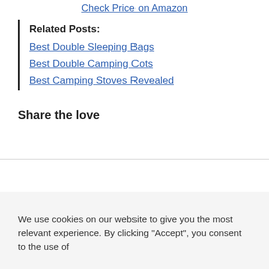Check Price on Amazon
Related Posts:
Best Double Sleeping Bags
Best Double Camping Cots
Best Camping Stoves Revealed
Share the love
We use cookies on our website to give you the most relevant experience. By clicking "Accept", you consent to the use of